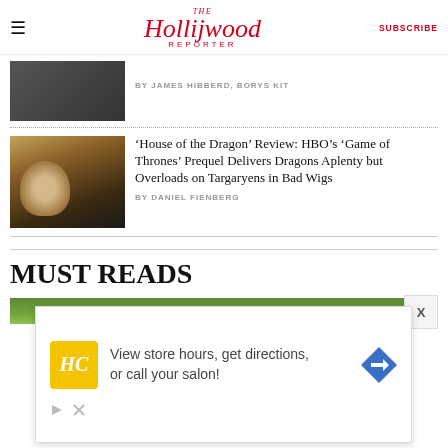The Hollywood Reporter | SUBSCRIBE
BY JAMES HIBBERD, BORYS KIT
'House of the Dragon' Review: HBO's 'Game of Thrones' Prequel Delivers Dragons Aplenty but Overloads on Targaryens in Bad Wigs
BY DANIEL FIENBERG
MUST READS
[Figure (photo): Green forest/trees image strip at bottom of page]
[Figure (infographic): Advertisement overlay: HC logo, text 'View store hours, get directions, or call your salon!', navigation arrow icon, play and close buttons]